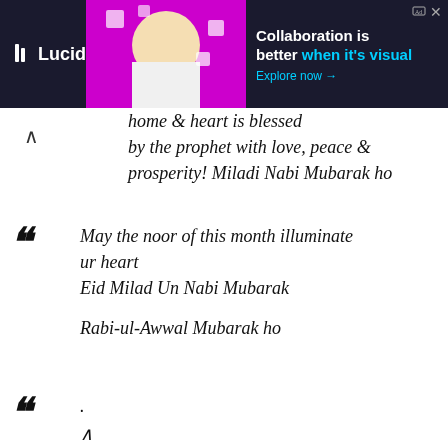[Figure (screenshot): Advertisement banner for Lucid showing a woman and text 'Collaboration is better when it's visual. Explore now →']
home & heart is blessed
by the prophet with love, peace & prosperity! Miladi Nabi Mubarak ho
May the noor of this month illuminate ur heart
Eid Milad Un Nabi Mubarak

Rabi-ul-Awwal Mubarak ho
.
∧
[;] ! (*